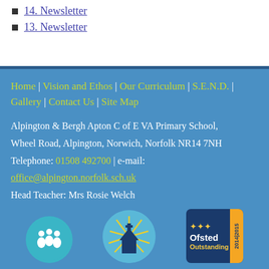14. Newsletter
13. Newsletter
Home | Vision and Ethos | Our Curriculum | S.E.N.D. | Gallery | Contact Us | Site Map
Alpington & Bergh Apton C of E VA Primary School, Wheel Road, Alpington, Norwich, Norfolk NR14 7NH
Telephone: 01508 492700 | e-mail:
office@alpington.norfolk.sch.uk
Head Teacher: Mrs Rosie Welch
[Figure (logo): Three logos at bottom: teal circle with people silhouettes, light blue circle with church and sunburst, Ofsted Outstanding 2014|2015 badge]